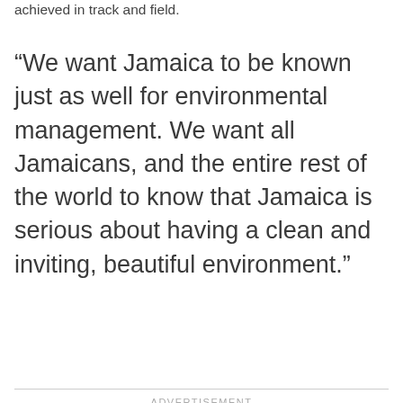achieved in track and field.
“We want Jamaica to be known just as well for environmental management. We want all Jamaicans, and the entire rest of the world to know that Jamaica is serious about having a clean and inviting, beautiful environment.”
ADVERTISEMENT
[Figure (other): Advertisement placeholder box with light grey background]